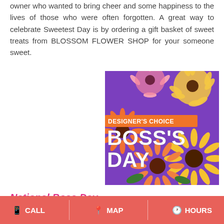owner who wanted to bring cheer and some happiness to the lives of those who were often forgotten. A great way to celebrate Sweetest Day is by ordering a gift basket of sweet treats from BLOSSOM FLOWER SHOP for your someone sweet.
[Figure (photo): A colorful floral arrangement with orange, yellow, and pink gerbera daisies on a purple background. Text overlay reads 'DESIGNER'S CHOICE' in an orange banner and 'BOSS'S DAY' in large white bold letters.]
National Boss Day
CALL   MAP   HOURS